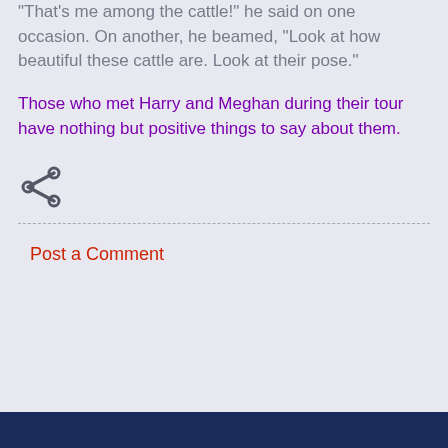"That's me among the cattle!" he said on one occasion. On another, he beamed, "Look at how beautiful these cattle are. Look at their pose."
Those who met Harry and Meghan during their tour have nothing but positive things to say about them.
[Figure (other): Share icon (less-than sign style social share button)]
Post a Comment